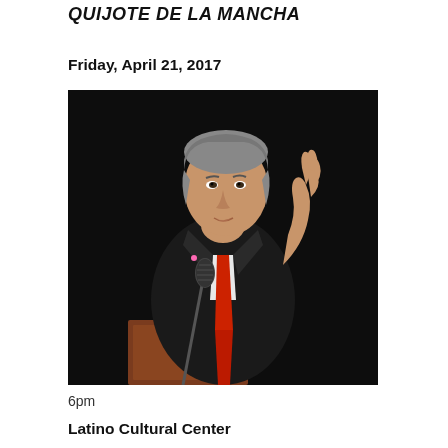QUIJOTE DE LA MANCHA
Friday, April 21, 2017
[Figure (photo): A man in a dark suit with a red tie speaking at a podium with a microphone, gesturing with his right hand raised, photographed against a dark background.]
6pm
Latino Cultural Center